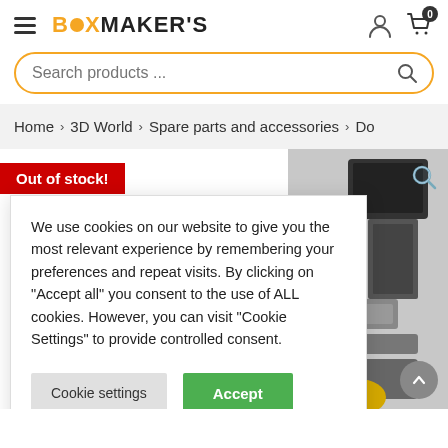BOXMAKER'S
Search products ...
Home > 3D World > Spare parts and accessories > Do
Out of stock!
We use cookies on our website to give you the most relevant experience by remembering your preferences and repeat visits. By clicking on "Accept all" you consent to the use of ALL cookies. However, you can visit "Cookie Settings" to provide controlled consent.
[Figure (screenshot): Product image showing mechanical parts with red wires and metal components]
Cookie settings
Accept